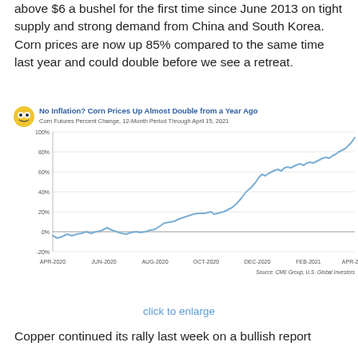above $6 a bushel for the first time since June 2013 on tight supply and strong demand from China and South Korea. Corn prices are now up 85% compared to the same time last year and could double before we see a retreat.
[Figure (line-chart): No Inflation? Corn Prices Up Almost Double from a Year Ago]
click to enlarge
Copper continued its rally last week on a bullish report